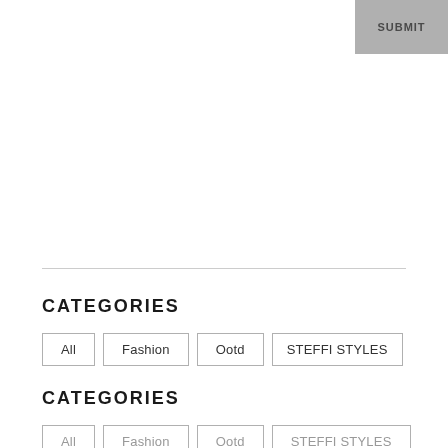SUBMIT
CATEGORIES
All
Fashion
Ootd
STEFFI STYLES
CATEGORIES
All
Fashion
Ootd
STEFFI STYLES